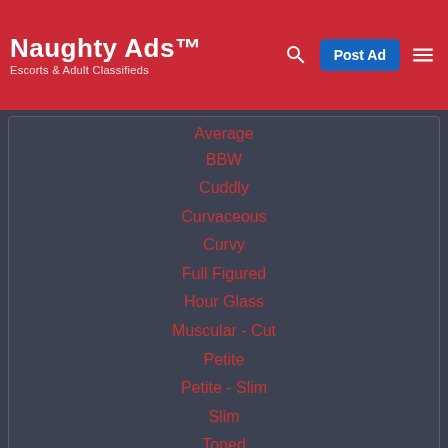Naughty Ads™ — Escorts & Adult Classifieds
Average
BBW
Cuddly
Curvaceous
Curvy
Full Figured
Hour Glass
Muscular - Cut
Petite
Petite - Slim
Slim
Toned
Voluptuous
Ethnicity